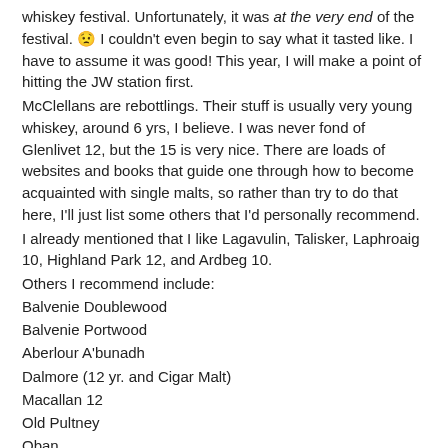whiskey festival. Unfortunately, it was at the very end of the festival. 😟 I couldn't even begin to say what it tasted like. I have to assume it was good! This year, I will make a point of hitting the JW station first.
McClellans are rebottlings. Their stuff is usually very young whiskey, around 6 yrs, I believe. I was never fond of Glenlivet 12, but the 15 is very nice. There are loads of websites and books that guide one through how to become acquainted with single malts, so rather than try to do that here, I'll just list some others that I'd personally recommend.
I already mentioned that I like Lagavulin, Talisker, Laphroaig 10, Highland Park 12, and Ardbeg 10.
Others I recommend include:
Balvenie Doublewood
Balvenie Portwood
Aberlour A'bunadh
Dalmore (12 yr. and Cigar Malt)
Macallan 12
Old Pultney
Oban
Glenfarclas 105